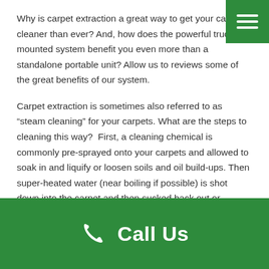Why is carpet extraction a great way to get your carpets cleaner than ever? And, how does the powerful truck mounted system benefit you even more than a standalone portable unit? Allow us to reviews some of the great benefits of our system.
Carpet extraction is sometimes also referred to as “steam cleaning” for your carpets. What are the steps to cleaning this way?  First, a cleaning chemical is commonly pre-sprayed onto your carpets and allowed to soak in and liquify or loosen soils and oil build-ups. Then super-heated water (near boiling if possible) is shot down into the carpet and then sucked back out or “extracted” from the carpeting, thus scooping up all of the loose dirt, germs, and residues.
[Figure (other): Green footer bar with phone icon and Call Us text in white bold]